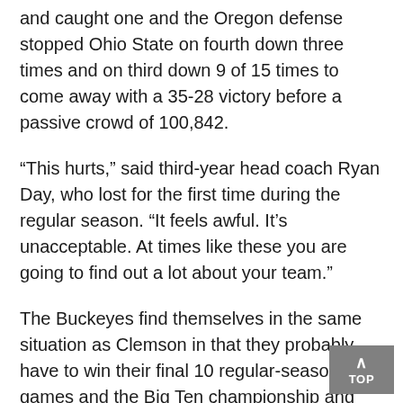and caught one and the Oregon defense stopped Ohio State on fourth down three times and on third down 9 of 15 times to come away with a 35-28 victory before a passive crowd of 100,842.
“This hurts,” said third-year head coach Ryan Day, who lost for the first time during the regular season. “It feels awful. It’s unacceptable. At times like these you are going to find out a lot about your team.”
The Buckeyes find themselves in the same situation as Clemson in that they probably have to win their final 10 regular-season games and the Big Ten championship and then do some finger-crossing in order to reach the College Football Playoff a third straight season.